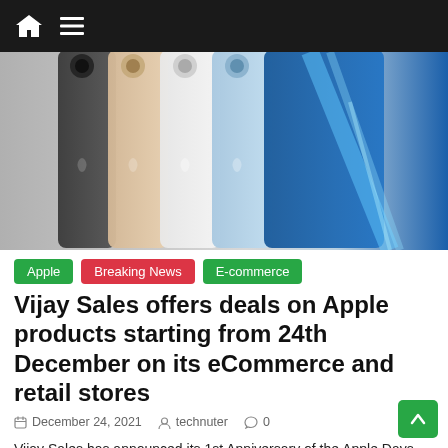Navigation bar with home icon and menu icon
[Figure (photo): Five iPhone 13 models shown from the back in different colors: graphite, starlight/gold, white, blue, and Sierra Blue, arranged side by side]
Apple
Breaking News
E-commerce
Vijay Sales offers deals on Apple products starting from 24th December on its eCommerce and retail stores
December 24, 2021  technuter  0
Vijay Sales has announced its 1st Anniversary of the Apple Days Campaign from December 24 to 31. Consumers can